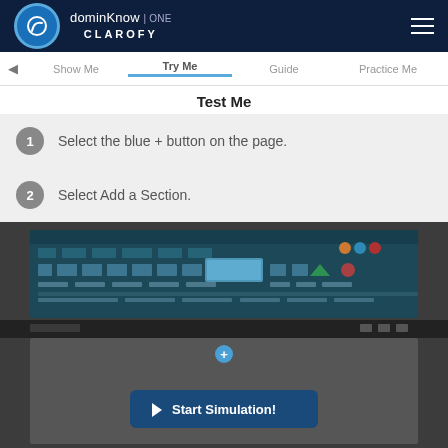dominKnow | ONE CLAROFY
Show me   Try Me   Guide   Practice Me
Test Me
1  Select the blue + button on the page.
2  Select Add a Section.
[Figure (screenshot): Software simulation screenshot showing a toolbar and a content editing area with a blue + button and a 'Start Simulation!' button overlay]